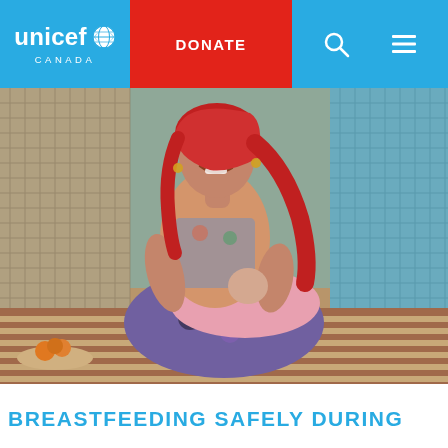unicef CANADA | DONATE
[Figure (photo): A smiling woman wearing a red headscarf and colorful patterned clothing sits cross-legged on a striped mat, breastfeeding an infant wrapped in a pink blanket. There is a plate of fruit visible in the lower left. The background shows a latticed wall and a blue wall.]
BREASTFEEDING SAFELY DURING